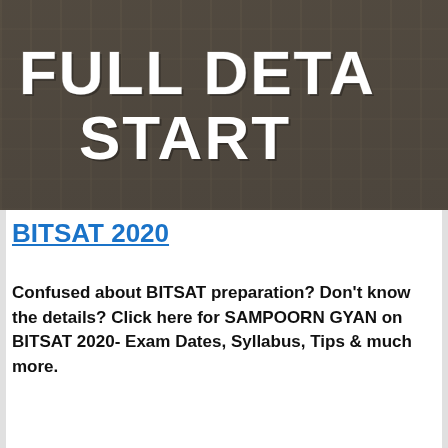[Figure (illustration): Dark brownish banner image with bold white distressed/stamp-style text reading 'FULL DETA' on top line and 'START' on second line (text partially cropped on right side), over a blurred architectural background.]
BITSAT 2020
Confused about BITSAT preparation? Don't know the details? Click here for SAMPOORN GYAN on BITSAT 2020- Exam Dates, Syllabus, Tips & much more.